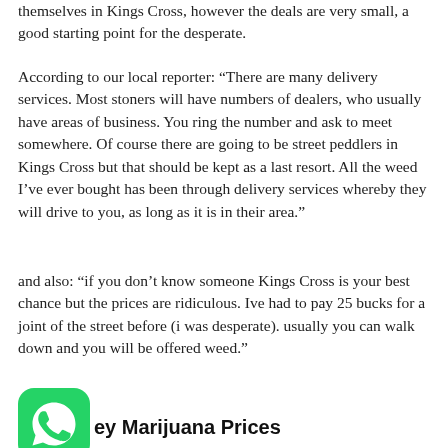themselves in Kings Cross, however the deals are very small, a good starting point for the desperate.
According to our local reporter: “There are many delivery services. Most stoners will have numbers of dealers, who usually have areas of business. You ring the number and ask to meet somewhere. Of course there are going to be street peddlers in Kings Cross but that should be kept as a last resort. All the weed I’ve ever bought has been through delivery services whereby they will drive to you, as long as it is in their area.”
and also: “if you don’t know someone Kings Cross is your best chance but the prices are ridiculous. Ive had to pay 25 bucks for a joint of the street before (i was desperate). usually you can walk down and you will be offered weed.”
ey Marijuana Prices